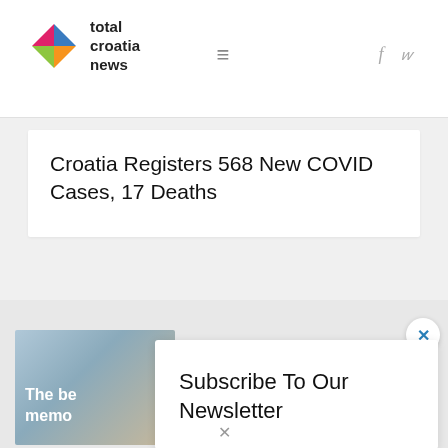total croatia news
Croatia Registers 568 New COVID Cases, 17 Deaths
[Figure (photo): Partial promotional image with text 'The be memo' visible on a blue/teal background]
Subscribe To Our Newsletter